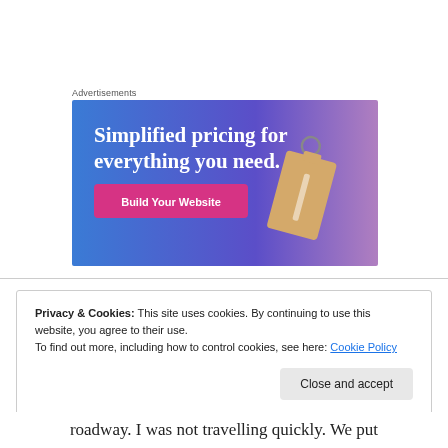Advertisements
[Figure (illustration): Advertisement banner with blue-to-purple gradient background. Text reads 'Simplified pricing for everything you need.' with a pink 'Build Your Website' button on the left and a tan/beige price tag on the right.]
Privacy & Cookies: This site uses cookies. By continuing to use this website, you agree to their use.
To find out more, including how to control cookies, see here: Cookie Policy
roadway. I was not travelling quickly. We put